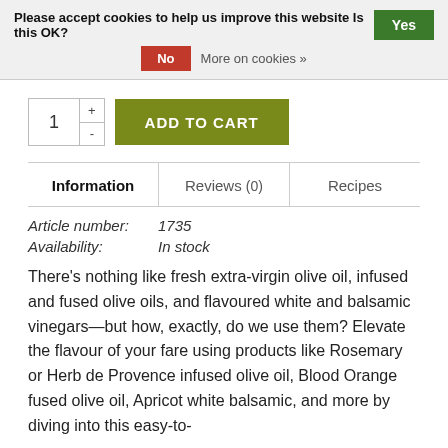Please accept cookies to help us improve this website Is this OK? Yes
No  More on cookies »
1  +  -  ADD TO CART
| Information | Reviews (0) | Recipes |
| --- | --- | --- |
Article number:  1735
Availability:  In stock
There's nothing like fresh extra-virgin olive oil, infused and fused olive oils, and flavoured white and balsamic vinegars—but how, exactly, do we use them? Elevate the flavour of your fare using products like Rosemary or Herb de Provence infused olive oil, Blood Orange fused olive oil, Apricot white balsamic, and more by diving into this easy-to-